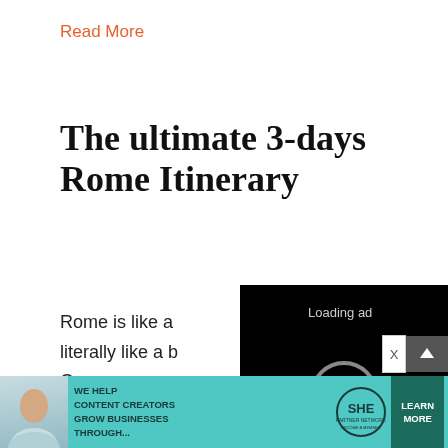Read More
The ultimate 3-days Rome Itinerary
Rome is like a literally like a b On every corn there's a mon a museum, a ruin from the ancient ti
[Figure (screenshot): Black video ad overlay with 'Loading ad' text, a loading spinner, and media controls (pause, fullscreen, mute)]
[Figure (screenshot): Bottom advertisement banner: teal background with woman photo, 'WE HELP CONTENT CREATORS GROW BUSINESSES THROUGH...' text, SHE Partner Network logo, and 'LEARN MORE' button]